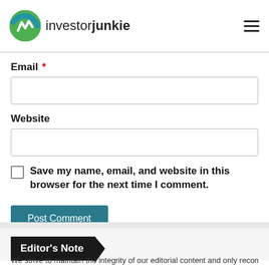investorjunkie
Email *
Website
Save my name, email, and website in this browser for the next time I comment.
Post Comment
Editor's Note
We strive to maintain the integrity of our editorial content and only recommend...